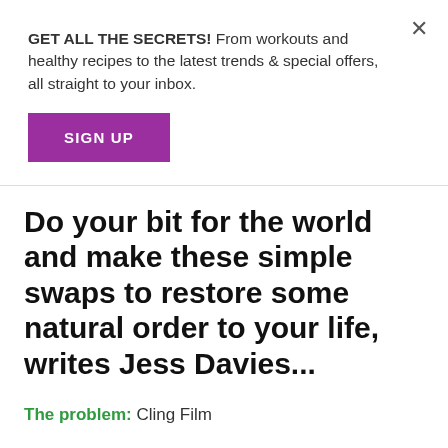GET ALL THE SECRETS! From workouts and healthy recipes to the latest trends & special offers, all straight to your inbox.
SIGN UP
Do your bit for the world and make these simple swaps to restore some natural order to your life, writes Jess Davies...
The problem: Cling Film
Cling Film and foil use a lot of greenhouse gas to produce, are not reusable and can leek nasty chemicals into your food.